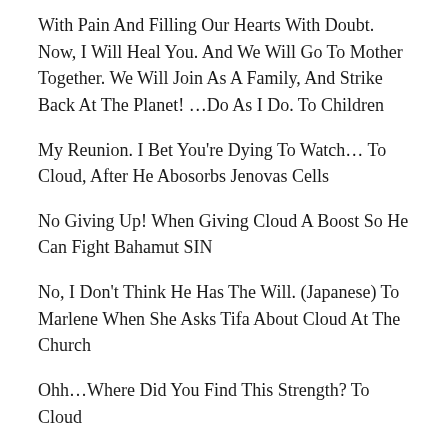With Pain And Filling Our Hearts With Doubt. Now, I Will Heal You. And We Will Go To Mother Together. We Will Join As A Family, And Strike Back At The Planet! …Do As I Do. To Children
My Reunion. I Bet You're Dying To Watch… To Cloud, After He Abosorbs Jenovas Cells
No Giving Up! When Giving Cloud A Boost So He Can Fight Bahamut SIN
No, I Don't Think He Has The Will. (Japanese) To Marlene When She Asks Tifa About Cloud At The Church
Ohh…Where Did You Find This Strength? To Cloud
On Your Knees… I Want You To Beg For Forgiveness!